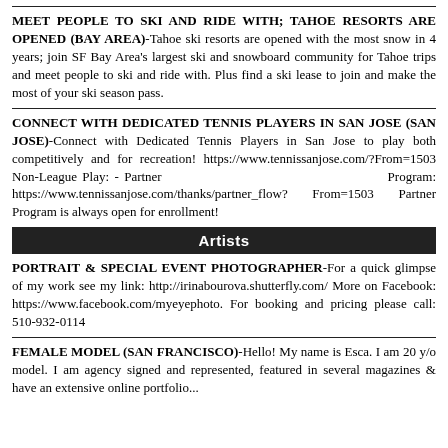MEET PEOPLE TO SKI AND RIDE WITH; TAHOE RESORTS ARE OPENED (BAY AREA)-Tahoe ski resorts are opened with the most snow in 4 years; join SF Bay Area's largest ski and snowboard community for Tahoe trips and meet people to ski and ride with. Plus find a ski lease to join and make the most of your ski season pass.
CONNECT WITH DEDICATED TENNIS PLAYERS IN SAN JOSE (SAN JOSE)-Connect with Dedicated Tennis Players in San Jose to play both competitively and for recreation! https://www.tennissanjose.com/?From=1503 Non-League Play: - Partner Program: https://www.tennissanjose.com/thanks/partner_flow? From=1503 Partner Program is always open for enrollment!
Artists
PORTRAIT & SPECIAL EVENT PHOTOGRAPHER-For a quick glimpse of my work see my link: http://irinabourova.shutterfly.com/ More on Facebook: https://www.facebook.com/myeyephoto. For booking and pricing please call: 510-932-0114
FEMALE MODEL (SAN FRANCISCO)-Hello! My name is Esca. I am 20 y/o model. I am agency signed and represented, featured in several magazines & have an extensive online portfolio...